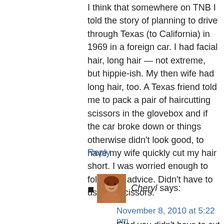I think that somewhere on TNB I told the story of planning to drive through Texas (to California) in 1969 in a foreign car. I had facial hair, long hair — not extreme, but hippie-ish. My then wife had long hair, too. A Texas friend told me to pack a pair of haircutting scissors in the glovebox and if the car broke down or things otherwise didn't look good, to have my wife quickly cut my hair short. I was worried enough to follow his advice. Didn't have to use the scissors.
Reply
[Figure (photo): Small avatar photo of a woman named Cheryl]
Cheryl says:
November 8, 2010 at 5:22 pm
Glad you didn't have to cut your hair, Don. It's a big state and there are some very inhospitable places here. On the other hand, it's my home and I do love it. It's full of contradictions and outlandish characters and tall tales.

The pick-up might make it out – even with the